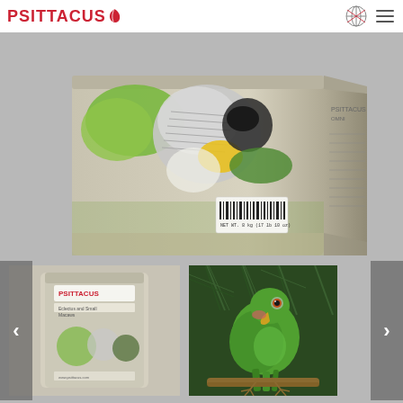PSITTACUS (logo with navigation icons)
[Figure (photo): Large product bag of Psittacus bird food shown at an angle. The bag has a gray/taupe color and features an illustration of a macaw and other parrots. A barcode label and NET WT. 8 kg (17 lb 10 oz) label are visible on the front. The right side panel shows nutritional information text.]
[Figure (photo): Thumbnail image of a smaller Psittacus product bag with parrots on the packaging.]
[Figure (photo): Thumbnail image of a green parrot (Amazon parrot) perched on a branch among pine needles.]